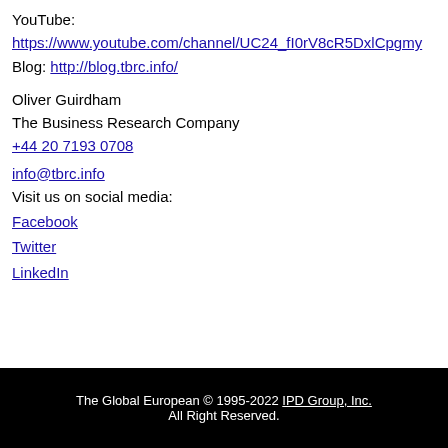YouTube:
https://www.youtube.com/channel/UC24_fI0rV8cR5DxlCpgmy
Blog: http://blog.tbrc.info/
Oliver Guirdham
The Business Research Company
+44 20 7193 0708
info@tbrc.info
Visit us on social media:
Facebook
Twitter
LinkedIn
The Global European © 1995-2022 IPD Group, Inc. All Right Reserved.